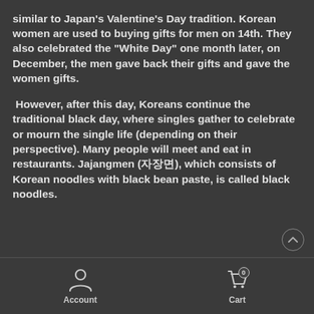similar to Japan's Valentine's Day tradition. Korean women are used to buying gifts for men on 14th. They also celebrated the "White Day" one month later, on December, the men gave back their gifts and gave the women gifts.
However, after this day, Koreans continue the traditional black day, where singles gather to celebrate or mourn the single life (depending on their perspective). Many people will meet and eat in restaurants. Jajangmen (자장면), which consists of Korean noodles with black bean paste, is called black noodles.
Account   Cart